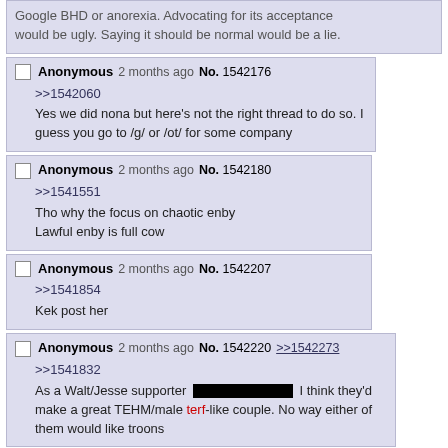Google BHD or anorexia. Advocating for its acceptance would be ugly. Saying it should be normal would be a lie.
Anonymous 2 months ago No. 1542176
>>1542060
Yes we did nona but here's not the right thread to do so. I guess you go to /g/ or /ot/ for some company
Anonymous 2 months ago No. 1542180
>>1541551
Tho why the focus on chaotic enby
Lawful enby is full cow
Anonymous 2 months ago No. 1542207
>>1541854
Kek post her
Anonymous 2 months ago No. 1542220 >>1542273
>>1541832
As a Walt/Jesse supporter [redacted] I think they'd make a great TEHM/male terf-like couple. No way either of them would like troons
Anonymous 2 months ago No. 1542223 >>1542227 >>1542301 >>1542333 >>1542423 >>1542427 >>1542447 >>1542572